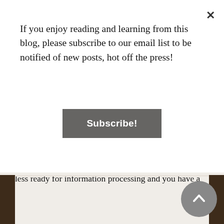If you enjoy reading and learning from this blog, please subscribe to our email list to be notified of new posts, hot off the press!
Subscribe!
comparison, your brain takes far more photos if you were to spend an equal time exploring a new scenic route. When you look back on this drive, the album is much thicker and you perceive it as a longer, more detailed memory.
Of course, this is extremely dangerous as your brain's autopilot does not protect you from changes to your usual commute, such as a car swerving into you by accident. The automatic process means your brain is less ready for information processing and you have a